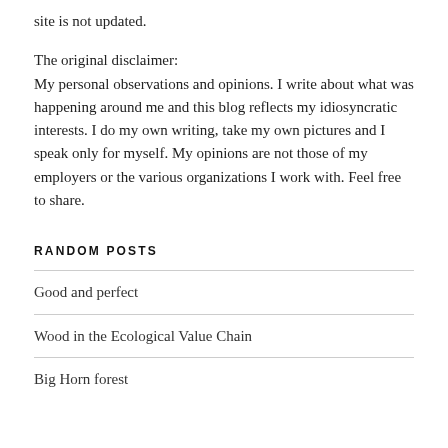site is not updated.
The original disclaimer:
My personal observations and opinions. I write about what was happening around me and this blog reflects my idiosyncratic interests. I do my own writing, take my own pictures and I speak only for myself. My opinions are not those of my employers or the various organizations I work with. Feel free to share.
RANDOM POSTS
Good and perfect
Wood in the Ecological Value Chain
Big Horn forest